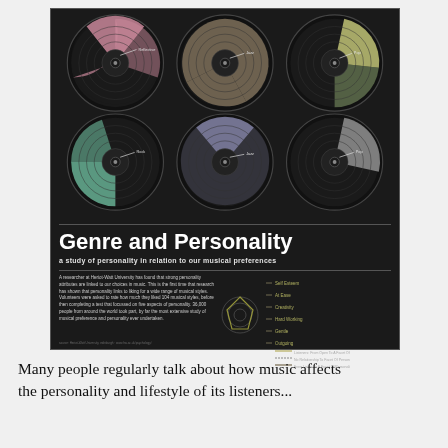[Figure (infographic): Infographic poster titled 'Genre and Personality: a study of personality in relation to our musical preferences'. Dark background with six vinyl record illustrations arranged in a 2x3 grid, each showing a different colored segment (pink, tan/beige, yellow-green, green, lavender, grey). Below the records is the title, subtitle, descriptive body text, and a radar/radial chart with legend lines.]
Many people regularly talk about how music affects the personality and lifestyle of its listeners...